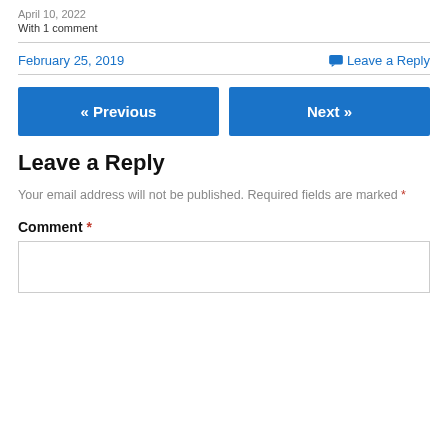April 10, 2022
With 1 comment
February 25, 2019
Leave a Reply
« Previous
Next »
Leave a Reply
Your email address will not be published. Required fields are marked *
Comment *